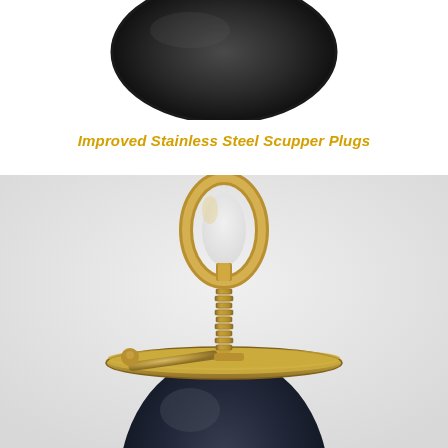[Figure (photo): Top portion of a stainless steel scupper plug viewed from above, showing a dark circular rubber/metal disc shape against a white background.]
Improved Stainless Steel Scupper Plugs
[Figure (photo): Close-up photo of a brass and rubber scupper plug assembly. The plug features a black rubber bulb body, a brass flat disc top plate, a threaded brass shaft in the center, a brass bail/ring handle at the top, and a brass wing/lever nut for tightening, all photographed against a light background.]